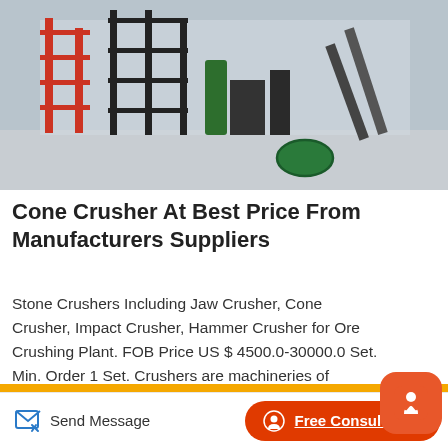[Figure (photo): Industrial machinery / stone crushing plant facility with red and black steel scaffolding structures, conveyor belts, and green circle marking on concrete floor.]
Cone Crusher At Best Price From Manufacturers Suppliers
Stone Crushers Including Jaw Crusher, Cone Crusher, Impact Crusher, Hammer Crusher for Ore Crushing Plant. FOB Price US $ 4500.0-30000.0 Set. Min. Order 1 Set. Crushers are machineries of crushing s to required particle sizes through one or multiple stages crushing.Nov 18, 2021 The Geode Crusher is a piece of Refining Equipment that can be used to open geodes on the farm. The player